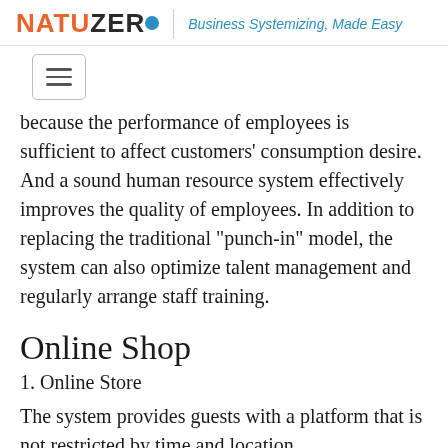NATUZERO | Business Systemizing, Made Easy
because the performance of employees is sufficient to affect customers' consumption desire. And a sound human resource system effectively improves the quality of employees. In addition to replacing the traditional "punch-in" model, the system can also optimize talent management and regularly arrange staff training.
Online Shop
1. Online Store
The system provides guests with a platform that is not restricted by time and location.